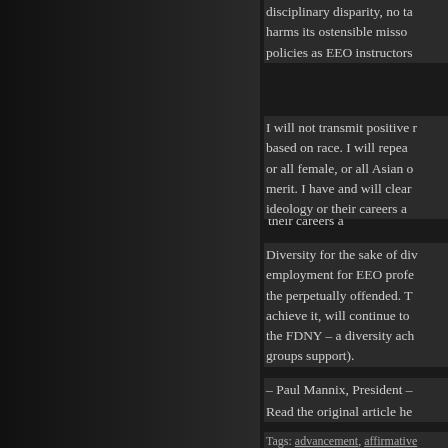disciplinary disparity, no ta harms its ostensible misso policies as EEO instructors
I will not transmit positive r based on race. I will repea or all female, or all Asian o merit. I have and will clear ideology or their careers a
Diversity for the sake of div employment for EEO profe the perpetually offended. T achieve it, will continue to the FDNY – a diversity ach groups support).
– Paul Mannix, President –
Read the original article he
Tags: advancement, affirmative recruitment, unity
Comments Off :
« Older Entries